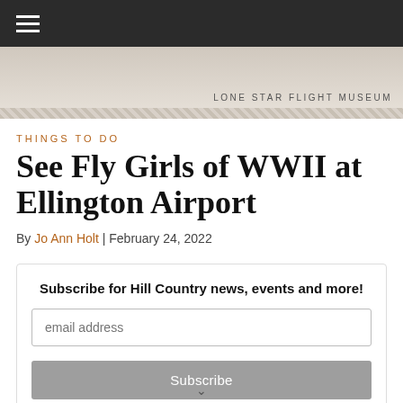LONE STAR FLIGHT MUSEUM
THINGS TO DO
See Fly Girls of WWII at Ellington Airport
By Jo Ann Holt | February 24, 2022
Subscribe for Hill Country news, events and more!
email address
Subscribe